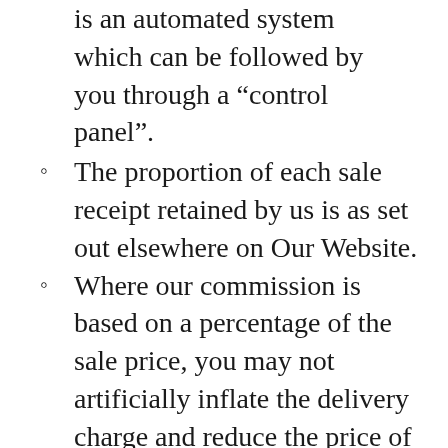is an automated system which can be followed by you through a “control panel”.
The proportion of each sale receipt retained by us is as set out elsewhere on Our Website.
Where our commission is based on a percentage of the sale price, you may not artificially inflate the delivery charge and reduce the price of the Product in order to reduce our commission. If we believe that you do so, we may immediately cease to deal with you.
We will pay you within 14 days of confirmed despatch